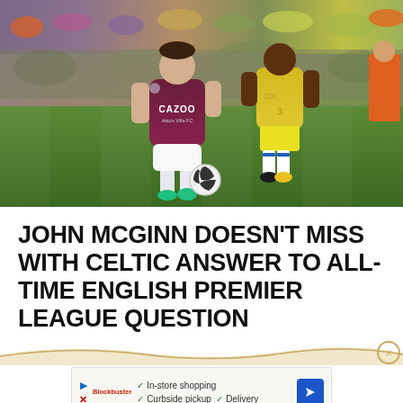[Figure (photo): Football match action photo showing an Aston Villa player in maroon CAZOO-sponsored kit dribbling the ball, challenged by a player in yellow kit, on a green pitch with stadium crowd in background.]
JOHN MCGINN DOESN'T MISS WITH CELTIC ANSWER TO ALL-TIME ENGLISH PREMIER LEAGUE QUESTION
[Figure (other): Advertisement banner showing store shopping options: In-store shopping, Curbside pickup, Delivery, with a blue navigation arrow icon and a close button.]